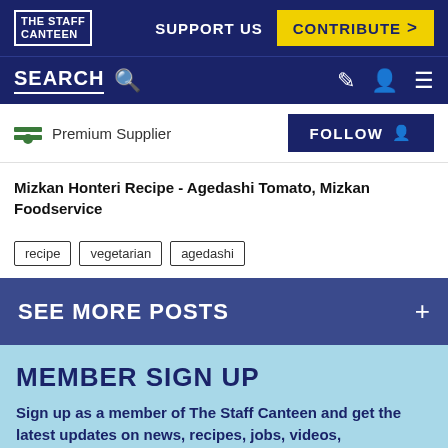THE STAFF CANTEEN | SUPPORT US | CONTRIBUTE >
SEARCH | FOLLOW
Premium Supplier
Mizkan Honteri Recipe - Agedashi Tomato, Mizkan Foodservice
recipe
vegetarian
agedashi
SEE MORE POSTS +
MEMBER SIGN UP
Sign up as a member of The Staff Canteen and get the latest updates on news, recipes, jobs, videos,